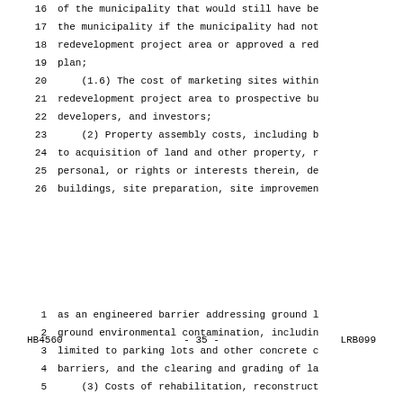16    of the municipality that would still have be
17    the municipality if the municipality had not
18    redevelopment project area or approved a red
19    plan;
20        (1.6) The cost of marketing sites within
21    redevelopment project area to prospective bu
22    developers, and investors;
23        (2) Property assembly costs, including b
24    to acquisition of land and other property, r
25    personal, or rights or interests therein, de
26    buildings, site preparation, site improvemen
HB4560                    - 35 -                    LRB099
1     as an engineered barrier addressing ground l
2     ground environmental contamination, includin
3     limited to parking lots and other concrete c
4     barriers, and the clearing and grading of la
5         (3) Costs of rehabilitation, reconstruct